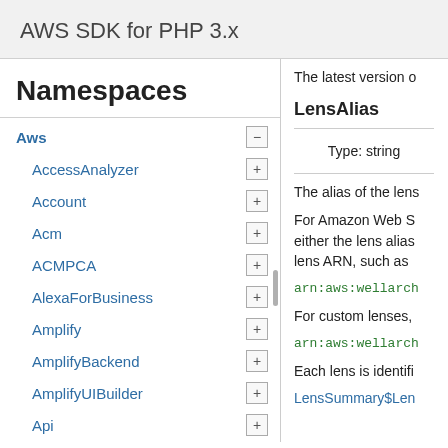AWS SDK for PHP 3.x
Namespaces
Aws
AccessAnalyzer
Account
Acm
ACMPCA
AlexaForBusiness
Amplify
AmplifyBackend
AmplifyUIBuilder
Api
ApiGateway
ApiGatewayManagementApi
The latest version o
LensAlias
Type: string
The alias of the lens
For Amazon Web S either the lens alias lens ARN, such as
arn:aws:wellarch
For custom lenses,
arn:aws:wellarch
Each lens is identifi
LensSummary$Len